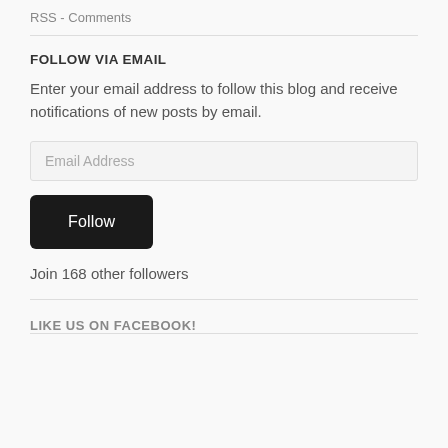RSS - Comments
FOLLOW VIA EMAIL
Enter your email address to follow this blog and receive notifications of new posts by email.
Email Address
Follow
Join 168 other followers
LIKE US ON FACEBOOK!